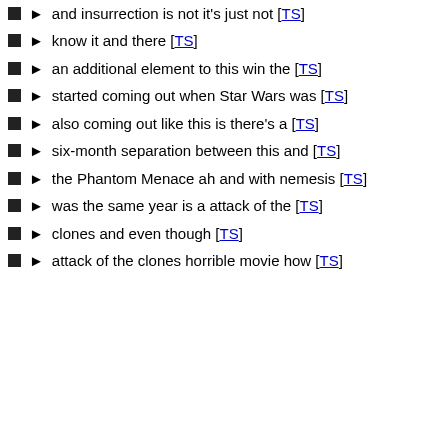the movie it kind of needs to be special [TS]
and insurrection is not it's just not [TS]
know it and there [TS]
an additional element to this win the [TS]
started coming out when Star Wars was [TS]
also coming out like this is there's a [TS]
six-month separation between this and [TS]
the Phantom Menace ah and with nemesis [TS]
was the same year is a attack of the [TS]
clones and even though [TS]
attack of the clones horrible movie how [TS]